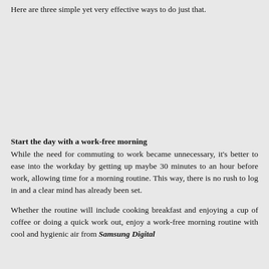Here are three simple yet very effective ways to do just that.
Start the day with a work-free morning
While the need for commuting to work became unnecessary, it's better to ease into the workday by getting up maybe 30 minutes to an hour before work, allowing time for a morning routine. This way, there is no rush to log in and a clear mind has already been set.
Whether the routine will include cooking breakfast and enjoying a cup of coffee or doing a quick work out, enjoy a work-free morning routine with cool and hygienic air from Samsung Digital